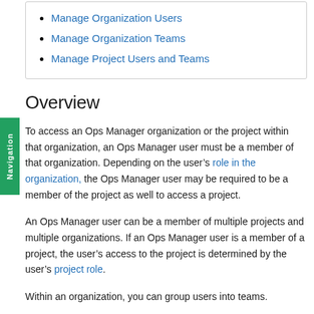Manage Organization Users
Manage Organization Teams
Manage Project Users and Teams
Overview
To access an Ops Manager organization or the project within that organization, an Ops Manager user must be a member of that organization. Depending on the user's role in the organization, the Ops Manager user may be required to be a member of the project as well to access a project.
An Ops Manager user can be a member of multiple projects and multiple organizations. If an Ops Manager user is a member of a project, the user's access to the project is determined by the user's project role.
Within an organization, you can group users into teams.